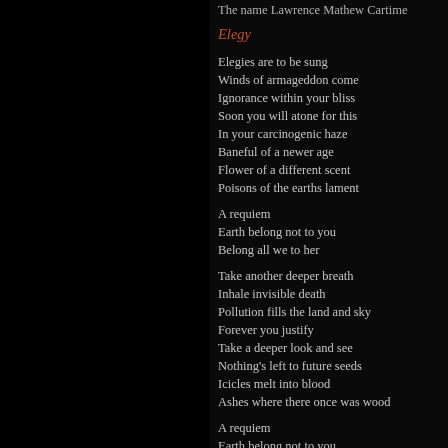The name Lawrence Mathew Cartime
Elegy
Elegies are to be sung
Winds of armageddon come
Ignorance within your bliss
Soon you will atone for this
In your carcinogenic haze
Baneful of a newer age
Flower of a different scent
Poisons of the earths lament
A requiem
Earth belong not to you
Belong all we to her
Take another deeper breath
Inhale invisible death
Pollution fills the land and sky
Forever you justify
Take a deeper look and see
Nothing's left to future seeds
Icicles melt into blood
Ashes where there once was wood
A requiem
Earth belong not to you
Belong all we to her
Pain of life has pulled you under
Left you there to bleed and wonder
Open heart left torn asunder
Wrong the wrongs that you've been suffered
Kill we scream in roaring thunder
Destroy all, leave all things plundered
Acid rain cries her pain
Full bloom, a world gone insane
Her anger the flower
Plays God with all of our lives